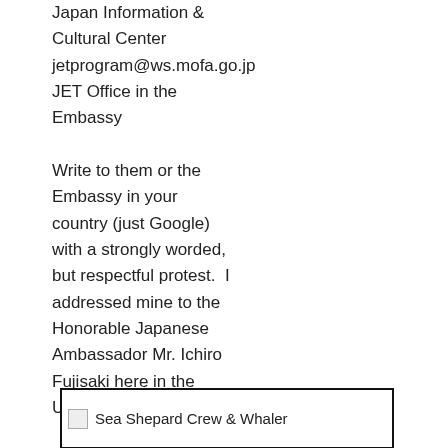Japan Information & Cultural Center
jetprogram@ws.mofa.go.jp
JET Office in the Embassy

Write to them or the Embassy in your country (just Google) with a strongly worded, but respectful protest.  I addressed mine to the Honorable Japanese Ambassador Mr. Ichiro Fujisaki here in the United States.
[Figure (photo): Image placeholder labeled 'Sea Shepard Crew & Whaler' shown with broken image icon and alt text]